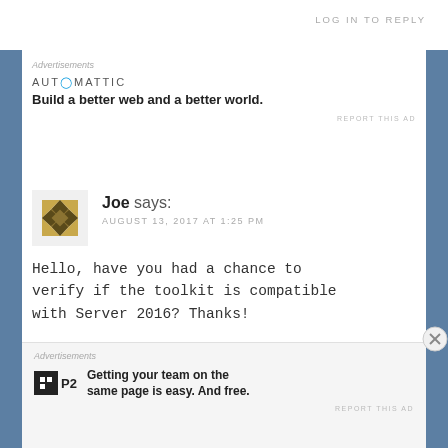LOG IN TO REPLY
Advertisements
[Figure (logo): Automattic logo with tagline: Build a better web and a better world.]
REPORT THIS AD
Joe says: AUGUST 13, 2017 AT 1:25 PM
Hello, have you had a chance to verify if the toolkit is compatible with Server 2016? Thanks!
Advertisements
[Figure (logo): P2 logo with tagline: Getting your team on the same page is easy. And free.]
REPORT THIS AD